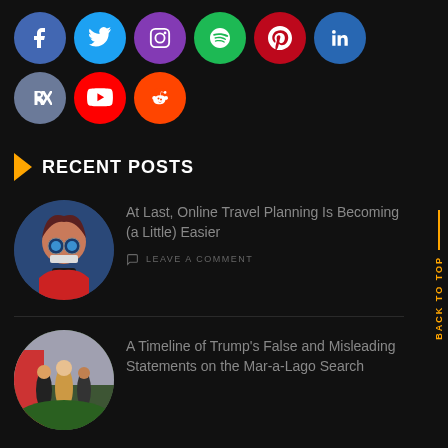[Figure (other): Row of social media icon circles: Facebook, Twitter, Instagram, Spotify, Pinterest, LinkedIn, VK, YouTube, Reddit]
RECENT POSTS
[Figure (illustration): Circular thumbnail illustration of a cartoon person with large glasses and blue eyes looking at a phone, with money flying around]
At Last, Online Travel Planning Is Becoming (a Little) Easier
LEAVE A COMMENT
[Figure (photo): Circular thumbnail photo of Trump with people around him near greenery]
A Timeline of Trump's False and Misleading Statements on the Mar-a-Lago Search